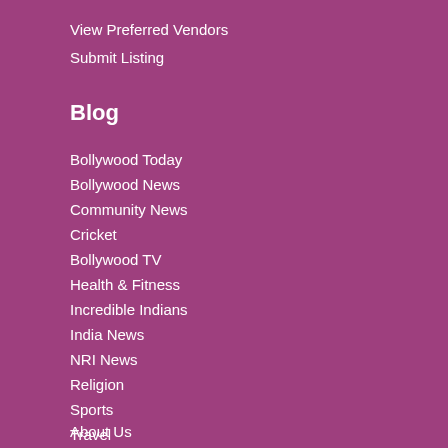View Preferred Vendors
Submit Listing
Blog
Bollywood Today
Bollywood News
Community News
Cricket
Bollywood TV
Health & Fitness
Incredible Indians
India News
NRI News
Religion
Sports
Travel
Book Review
About Us